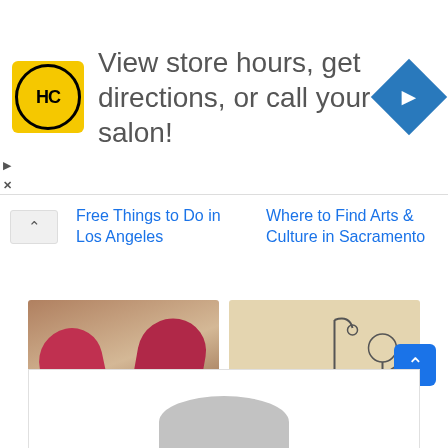[Figure (other): Advertisement banner with HC logo (yellow circle with HC text), text 'View store hours, get directions, or call your salon!' and a blue diamond navigation arrow icon on the right. Small play and X controls on left side.]
Free Things to Do in Los Angeles
Where to Find Arts & Culture in Sacramento
[Figure (photo): Photo of two red Everlast boxing gloves standing upright on a white surface, museum display.]
The Smithsonian Institution, Washington D.C.
[Figure (illustration): Pencil sketch drawing showing a large man gesturing near a street lamp and car, with small ducks on the ground.]
Ducking into The Museum of Fine Arts, Boston
[Figure (other): Bottom advertisement area showing a gray silhouette/avatar image placeholder.]